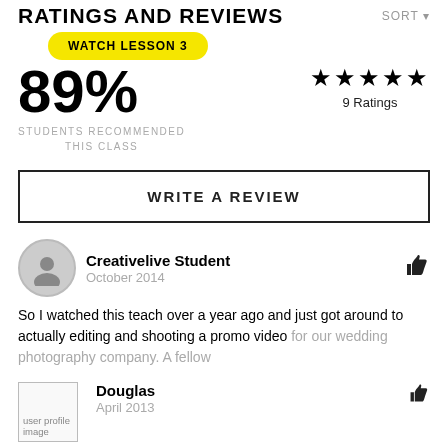RATINGS AND REVIEWS
SORT
[Figure (other): Yellow pill button with text WATCH LESSON 3]
89%
STUDENTS RECOMMENDED THIS CLASS
[Figure (other): Five black stars rating]
9 Ratings
WRITE A REVIEW
Creativelive Student
October 2014
So I watched this teach over a year ago and just got around to actually editing and shooting a promo video for our wedding photography company. A fellow
Douglas
April 2013
This course is NOT very technical, but that's really the point. Instead, it focuses on ideas and inspiration, with a bit of gear and technique overview. some great